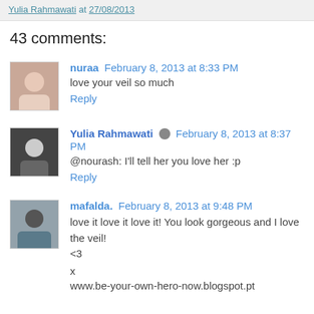Yulia Rahmawati at 27/08/2013
43 comments:
nuraa  February 8, 2013 at 8:33 PM
love your veil so much
Reply
Yulia Rahmawati  February 8, 2013 at 8:37 PM
@nourash: I'll tell her you love her :p
Reply
mafalda.  February 8, 2013 at 9:48 PM
love it love it love it! You look gorgeous and I love the veil! <3
x
www.be-your-own-hero-now.blogspot.pt